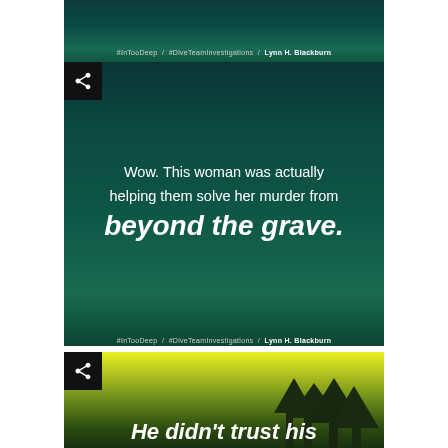[Figure (illustration): Top partial social media card with dark teal underwater background. Footer text: #InTooDeep / #DiveTeamInvestigations / Lynn H. Blackburn]
[Figure (illustration): Middle social media card with dark teal background and share button. Main quote text: 'Wow. This woman was actually helping them solve her murder from beyond the grave.' Footer text: #InTooDeep / #DiveTeamInvestigations / Lynn H. Blackburn]
Wow. This woman was actually helping them solve her murder from beyond the grave.
#InTooDeep / #DiveTeamInvestigations / Lynn H. Blackburn
[Figure (illustration): Bottom partial social media card with yellow-green gradient background, dark tree silhouettes on right, and partial bold italic text 'He didn't trust his' visible at bottom.]
He didn't trust his